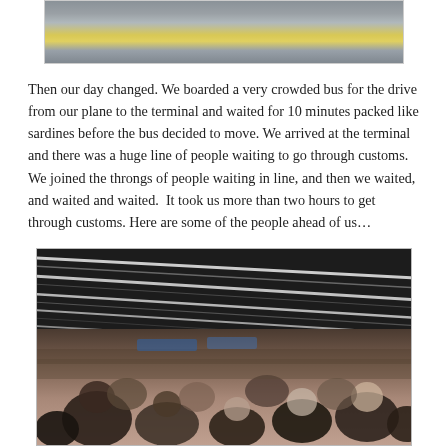[Figure (photo): Partial view of an airplane with yellow markings, cropped at top of page]
Then our day changed. We boarded a very crowded bus for the drive from our plane to the terminal and waited for 10 minutes packed like sardines before the bus decided to move. We arrived at the terminal and there was a huge line of people waiting to go through customs. We joined the throngs of people waiting in line, and then we waited, and waited and waited.  It took us more than two hours to get through customs. Here are some of the people ahead of us…
[Figure (photo): Crowded airport terminal with large groups of people waiting in line to go through customs, modern terminal with striped ceiling lights]